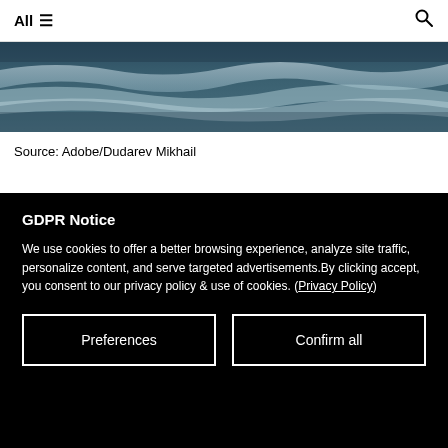All ☰ 🔍
[Figure (photo): Ocean/sea waves photo, muted blue-grey tones, showing foamy wave crests on dark water]
Source: Adobe/Dudarev Mikhail
GDPR Notice
We use cookies to offer a better browsing experience, analyze site traffic, personalize content, and serve targeted advertisements.By clicking accept, you consent to our privacy policy & use of cookies. (Privacy Policy)